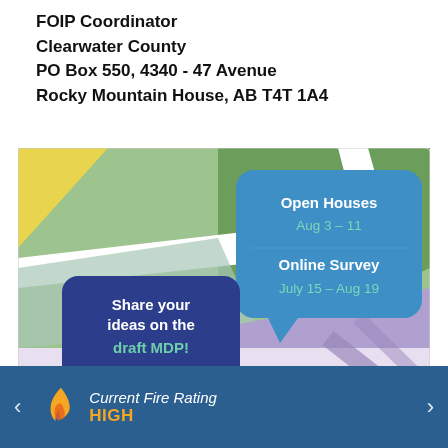FOIP Coordinator
Clearwater County
PO Box 550, 4340 - 47 Avenue
Rocky Mountain House, AB T4T 1A4
[Figure (infographic): Municipal Development Plan Review promotional image with map background, speech bubbles: 'Share your ideas on the draft MDP!', 'Open Houses Aug 3-11', 'Online Survey July 15 - Aug 19', Clearwater County logo and MDP Review gear logo]
Current Fire Rating
HIGH